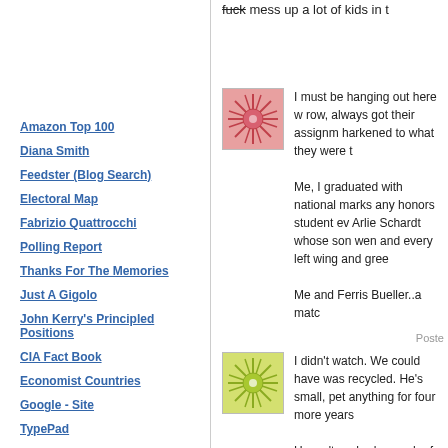fuck mess up a lot of kids in t
[Figure (illustration): Red floral/starburst avatar image]
I must be hanging out here w row, always got their assignm harkened to what they were t
Me, I graduated with national marks any honors student ev Arlie Schardt whose son wen and every left wing and gree
Me and Ferris Bueller..a matc
Poste
[Figure (illustration): Yellow-green floral/starburst avatar image]
I didn't watch. We could have was recycled. He's small, pet anything for four more years
Haven't we had enough of th
Amazon Top 100
Diana Smith
Feedster (Blog Search)
Electoral Map
Fabrizio Quattrocchi
Polling Report
Thanks For The Memories
Just A Gigolo
John Kerry's Principled Positions
CIA Fact Book
Economist Countries
Google - Site
TypePad
Google